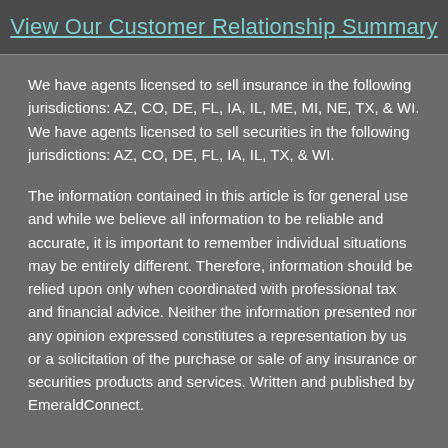View Our Customer Relationship Summary
We have agents licensed to sell insurance in the following jurisdictions: AZ, CO, DE, FL, IA, IL, ME, MI, NE, TX, & WI. We have agents licensed to sell securities in the following jurisdictions: AZ, CO, DE, FL, IA, IL, TX, & WI.
The information contained in this article is for general use and while we believe all information to be reliable and accurate, it is important to remember individual situations may be entirely different. Therefore, information should be relied upon only when coordinated with professional tax and financial advice. Neither the information presented nor any opinion expressed constitutes a representation by us or a solicitation of the purchase or sale of any insurance or securities products and services. Written and published by EmeraldConnect.
Site Map